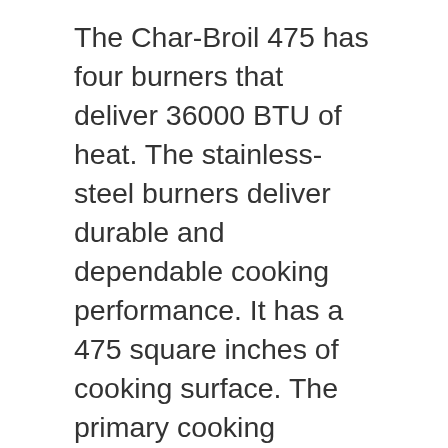The Char-Broil 475 has four burners that deliver 36000 BTU of heat. The stainless-steel burners deliver durable and dependable cooking performance. It has a 475 square inches of cooking surface. The primary cooking surface is 26.6 inches by 18.5 inches in area. It is made of rust-resistant iron coated porcelain.
The porcelain serves as a non-stick surface when the food is seasoned properly. There is a 10000 BTU side burner with a lid to cook the sides and sauces for your barbeque. But when the lid is down it provides additional workspace. The burners are lit by an